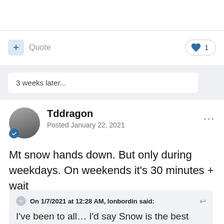+ Quote  ♥ 1
3 weeks later...
Tddragon
Posted January 22, 2021
Mt snow hands down. But only during weekdays. On weekends it's 30 minutes + wait
On 1/7/2021 at 12:28 AM, lonbordin said:
I've been to all... I'd say Snow is the best carving mountain. That said the crowds